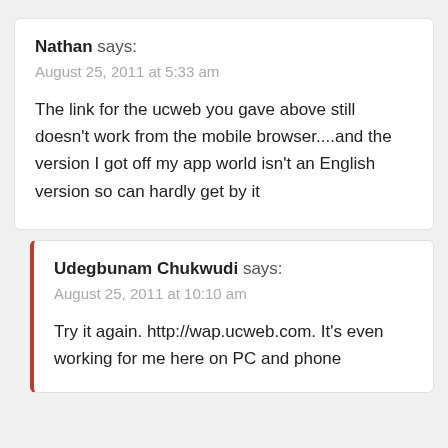Nathan says:
August 25, 2011 at 5:33 am
The link for the ucweb you gave above still doesn't work from the mobile browser....and the version I got off my app world isn't an English version so can hardly get by it
Udegbunam Chukwudi says:
August 25, 2011 at 10:10 am
Try it again. http://wap.ucweb.com. It's even working for me here on PC and phone